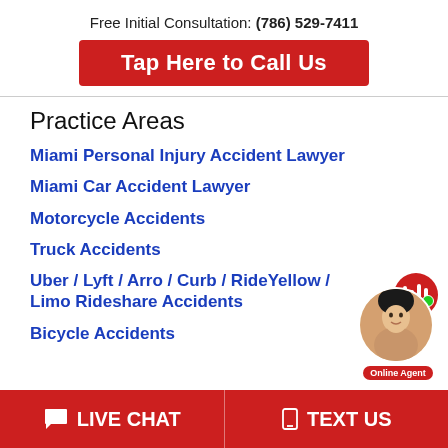Free Initial Consultation: (786) 529-7411
Tap Here to Call Us
Practice Areas
Miami Personal Injury Accident Lawyer
Miami Car Accident Lawyer
Motorcycle Accidents
Truck Accidents
Uber / Lyft / Arro / Curb / RideYellow / Limo Rideshare Accidents
Bicycle Accidents
LIVE CHAT   TEXT US